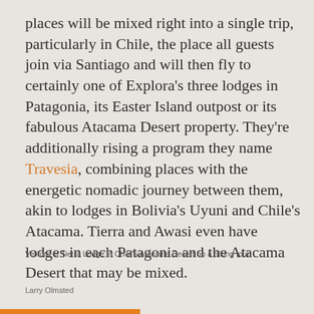places will be mixed right into a single trip, particularly in Chile, the place all guests join via Santiago and will then fly to certainly one of Explora's three lodges in Patagonia, its Easter Island outpost or its fabulous Atacama Desert property. They're additionally rising a program they name Travesia, combining places with the energetic nomadic journey between them, akin to lodges in Bolivia's Uyuni and Chile's Atacama. Tierra and Awasi even have lodges in each Patagonia and the Atacama Desert that may be mixed.
Visitors of Tierra Lodge in Chile's Atacama Desert on a biking tour.
Larry Olmsted